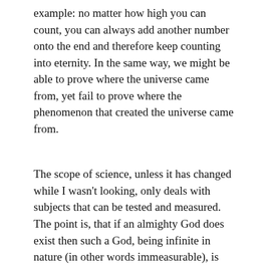example: no matter how high you can count, you can always add another number onto the end and therefore keep counting into eternity. In the same way, we might be able to prove where the universe came from, yet fail to prove where the phenomenon that created the universe came from.
The scope of science, unless it has changed while I wasn't looking, only deals with subjects that can be tested and measured. The point is, that if an almighty God does exist then such a God, being infinite in nature (in other words immeasurable), is beyond the scope of science.
Again, I am not arguing for the existence of God,